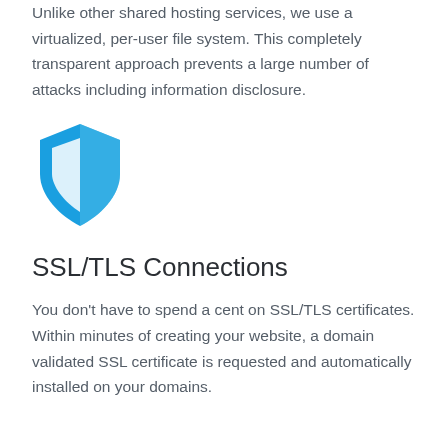Unlike other shared hosting services, we use a virtualized, per-user file system. This completely transparent approach prevents a large number of attacks including information disclosure.
[Figure (illustration): Blue shield icon with a half-shield highlight, representing security]
SSL/TLS Connections
You don't have to spend a cent on SSL/TLS certificates. Within minutes of creating your website, a domain validated SSL certificate is requested and automatically installed on your domains.